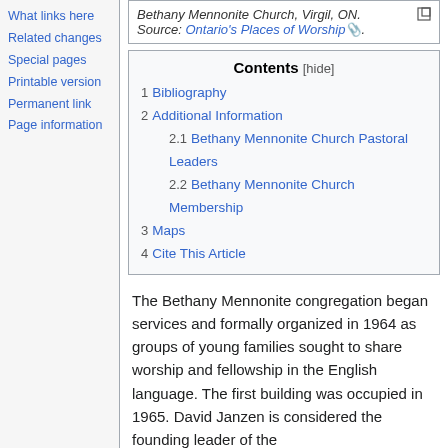What links here
Related changes
Special pages
Printable version
Permanent link
Page information
Bethany Mennonite Church, Virgil, ON. Source: Ontario's Places of Worship.
| 1 | Bibliography |
| 2 | Additional Information |
| 2.1 | Bethany Mennonite Church Pastoral Leaders |
| 2.2 | Bethany Mennonite Church Membership |
| 3 | Maps |
| 4 | Cite This Article |
The Bethany Mennonite congregation began services and formally organized in 1964 as groups of young families sought to share worship and fellowship in the English language. The first building was occupied in 1965. David Janzen is considered the founding leader of the